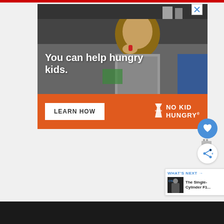[Figure (photo): Advertisement banner for No Kid Hungry. Top portion shows a young boy eating in a classroom setting with white overlay text 'You can help hungry kids.' Bottom orange section has a white 'LEARN HOW' button and the No Kid Hungry logo in white.]
[Figure (infographic): Blue circular heart/like button icon on the right side]
[Figure (infographic): White circular share button icon on the right side]
[Figure (screenshot): What's Next panel showing thumbnail image and text 'The Single-Cylinder F1...' with blue arrow header 'WHAT'S NEXT →']
[Figure (screenshot): Bottom dark bar with blue Facebook-style rectangle and small white logo/text on right]